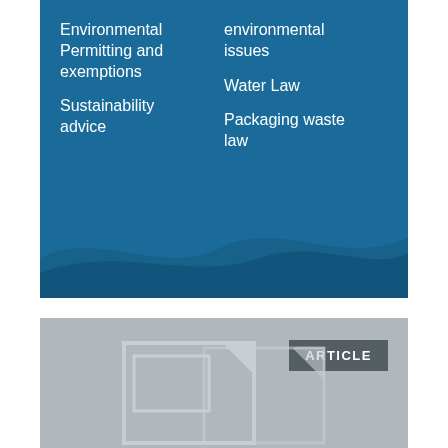[Figure (illustration): Blue panel with wave design and two-column list of environmental law topics]
Environmental Permitting and exemptions
Sustainability advice
environmental issues
Water Law
Packaging waste law
[Figure (illustration): Gray panel with article badge and document icon illustration]